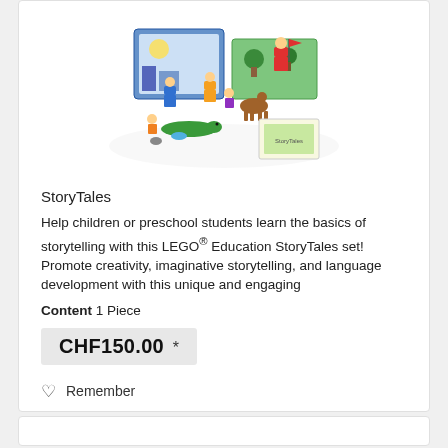[Figure (photo): LEGO Education StoryTales product set showing colorful LEGO duplo figures, animals, storybooks and play mats spread out.]
StoryTales
Help children or preschool students learn the basics of storytelling with this LEGO® Education StoryTales set! Promote creativity, imaginative storytelling, and language development with this unique and engaging
Content 1 Piece
CHF150.00 *
Remember